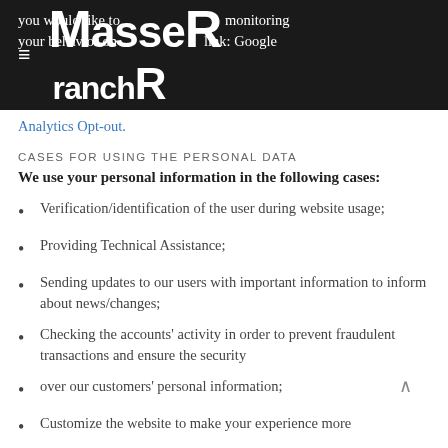MasseR ranchR
you would like to ... monitoring your behavior on ... link: Google Analytics Opt-out.
CASES FOR USING THE PERSONAL DATA
We use your personal information in the following cases:
Verification/identification of the user during website usage;
Providing Technical Assistance;
Sending updates to our users with important information to inform about news/changes;
Checking the accounts' activity in order to prevent fraudulent transactions and ensure the security
over our customers' personal information;
Customize the website to make your experience more